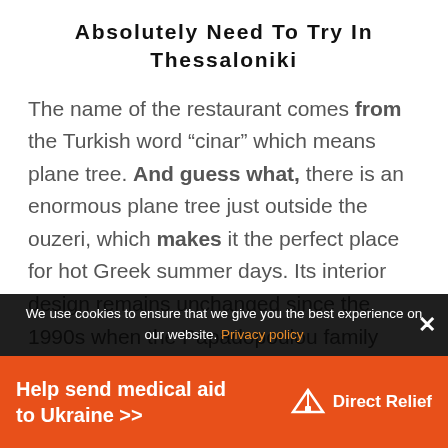Absolutely Need To Try In Thessaloniki
The name of the restaurant comes from the Turkish word “cinar” which means plane tree. And guess what, there is an enormous plane tree just outside the ouzeri, which makes it the perfect place for hot Greek summer days. Its interior design remains unchanged since the 1990s when the Papadopoulou family first took over the
We use cookies to ensure that we give you the best experience on our website. Privacy policy
Help send medical aid to Ukraine >>